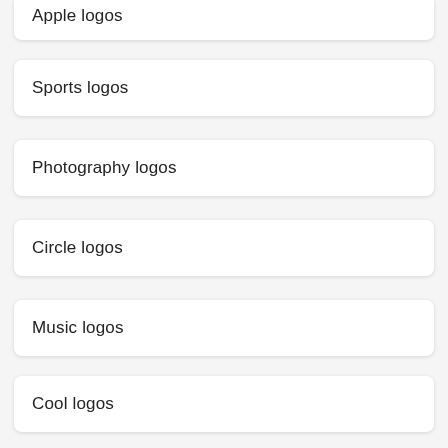Apple logos
Sports logos
Photography logos
Circle logos
Music logos
Cool logos
How to create your neon red